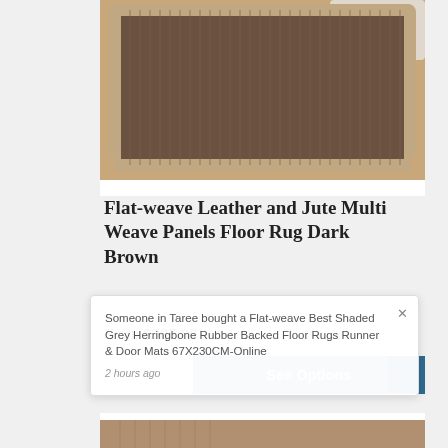[Figure (photo): A flat-weave leather and jute rug shown on a hardwood floor with a white sofa visible in the background. The rug has a dark brown center with lighter stripe borders.]
Flat-weave Leather and Jute Multi Weave Panels Floor Rug Dark Brown
From $387.00
See Options
Someone in Taree bought a Flat-weave Best Shaded Grey Herringbone Rubber Backed Floor Rugs Runner & Door Mats 67X230CM-Online
2 hours ago
[Figure (photo): Partial view of another rug product at the bottom of the page.]